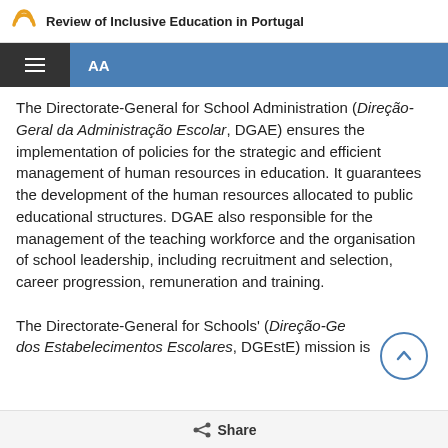Review of Inclusive Education in Portugal
The Directorate-General for School Administration (Direção-Geral da Administração Escolar, DGAE) ensures the implementation of policies for the strategic and efficient management of human resources in education. It guarantees the development of the human resources allocated to public educational structures. DGAE also responsible for the management of the teaching workforce and the organisation of school leadership, including recruitment and selection, career progression, remuneration and training. The Directorate-General for Schools' (Direção-Geral dos Estabelecimentos Escolares, DGEstE) mission is
Share